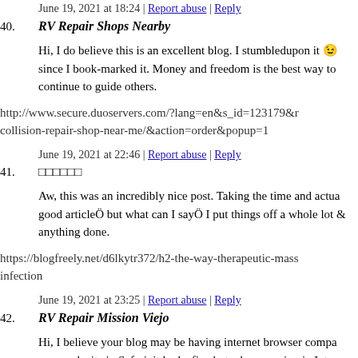June 19, 2021 at 18:24 | Report abuse | Reply
40. RV Repair Shops Nearby
Hi, I do believe this is an excellent blog. I stumbledupon it since I book-marked it. Money and freedom is the best way to continue to guide others.
http://www.secure.duoservers.com/?lang=en&s_id=123179&r... collision-repair-shop-near-me/&action=order&popup=1
June 19, 2021 at 22:46 | Report abuse | Reply
41.
Aw, this was an incredibly nice post. Taking the time and actual good articleÖ but what can I sayÖ I put things off a whole lot and never manage to get anything done.
https://blogfreely.net/d6lkytr372/h2-the-way-therapeutic-mass... infection
June 19, 2021 at 23:25 | Report abuse | Reply
42. RV Repair Mission Viejo
Hi, I believe your blog may be having internet browser compa... your web site in Safari, it looks fine but when opening in Intern... overlapping issues. I simply wanted to provide you with a quic...